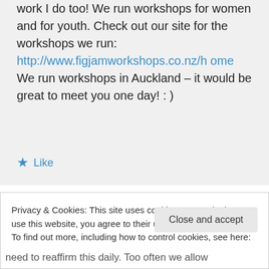work I do too! We run workshops for women and for youth. Check out our site for the workshops we run: http://www.figjamworkshops.co.nz/home
We run workshops in Auckland – it would be great to meet you one day! : )
★ Like
Privacy & Cookies: This site uses cookies. By continuing to use this website, you agree to their use.
To find out more, including how to control cookies, see here: Cookie Policy
Close and accept
need to reaffirm this daily. Too often we allow